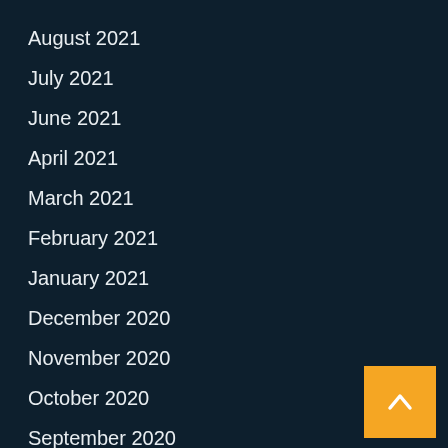August 2021
July 2021
June 2021
April 2021
March 2021
February 2021
January 2021
December 2020
November 2020
October 2020
September 2020
August 2020